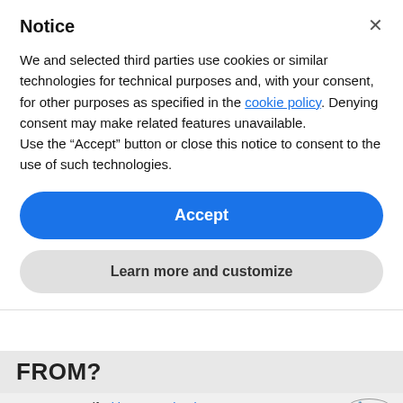Notice
We and selected third parties use cookies or similar technologies for technical purposes and, with your consent, for other purposes as specified in the cookie policy. Denying consent may make related features unavailable.
Use the “Accept” button or close this notice to consent to the use of such technologies.
Accept
Learn more and customize
FROM?
[Figure (infographic): A scientific infographic showing a particle size scale from 0.001 μm to 10,000 μm, with labels for nanofiber membrane, regular facemasks, fog, mist, rain, tobacco smoke, and mold. Tagline: protect yourself with nanotechnology. Logo: CYCL]